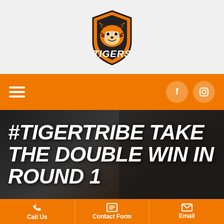[Figure (logo): Tigers sports club logo: orange shield with roaring tiger head and 'TIGERS' text below]
Navigation bar with hamburger menu, Facebook icon, and Instagram icon
#TIGERTRIBE TAKE THE DOUBLE WIN IN ROUND 1
Call Us | Contact Form | Email